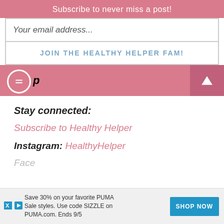Subscribe to never miss a post!
Your email address...
JOIN THE HEALTHY HELPER FAM!
Stay connected:
Subscribe to Healthy Helper
Instagram: HealthyHelper
Face
[Figure (infographic): Advertisement banner: Save 30% on your favorite PUMA Sale styles. Use code SIZZLE on PUMA.com. Ends 9/5. SHOP NOW button in blue.]